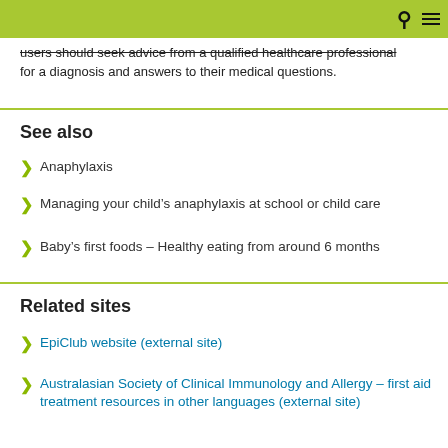users should seek advice from a qualified healthcare professional for a diagnosis and answers to their medical questions.
See also
Anaphylaxis
Managing your child's anaphylaxis at school or child care
Baby's first foods – Healthy eating from around 6 months
Related sites
EpiClub website (external site)
Australasian Society of Clinical Immunology and Allergy – first aid treatment resources in other languages (external site)